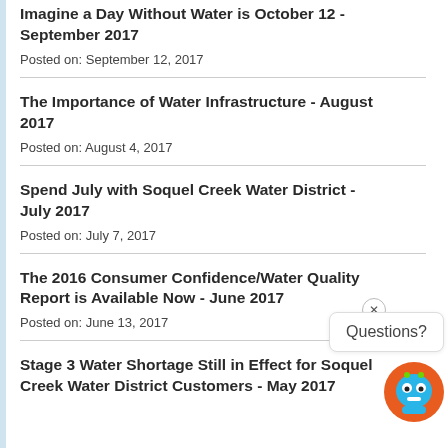Imagine a Day Without Water is October 12 - September 2017
Posted on: September 12, 2017
The Importance of Water Infrastructure - August 2017
Posted on: August 4, 2017
Spend July with Soquel Creek Water District - July 2017
Posted on: July 7, 2017
The 2016 Consumer Confidence/Water Quality Report is Available Now - June 2017
Posted on: June 13, 2017
Stage 3 Water Shortage Still in Effect for Soquel Creek Water District Customers - May 2017